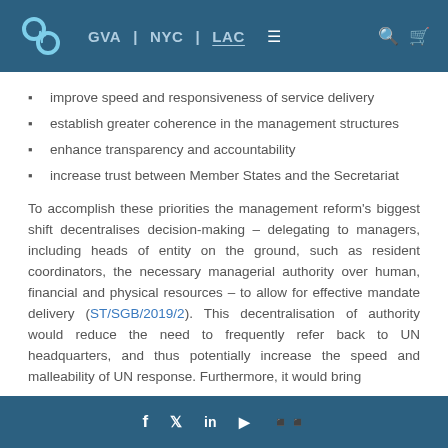GVA | NYC | LAC
improve speed and responsiveness of service delivery
establish greater coherence in the management structures
enhance transparency and accountability
increase trust between Member States and the Secretariat
To accomplish these priorities the management reform's biggest shift decentralises decision-making – delegating to managers, including heads of entity on the ground, such as resident coordinators, the necessary managerial authority over human, financial and physical resources – to allow for effective mandate delivery (ST/SGB/2019/2). This decentralisation of authority would reduce the need to frequently refer back to UN headquarters, and thus potentially increase the speed and malleability of UN response. Furthermore, it would bring
f  𝕥  in  ▶  ⊞